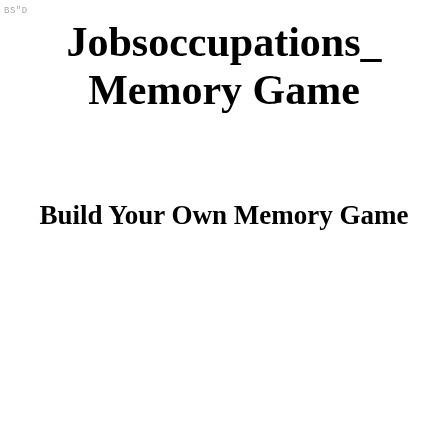BS"D
Jobsoccupations_ Memory Game
Build Your Own Memory Game